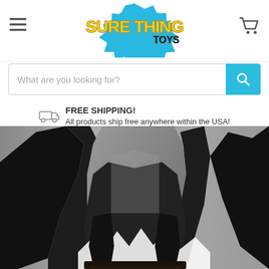[Figure (logo): Sure Thing Toys logo - yellow bold text 'SURE THING' with blue comic-style starburst background and smaller 'TOYS' text in dark, stylized comic font]
[Figure (other): Hamburger menu icon (three horizontal lines) on left side of header]
[Figure (other): Shopping cart icon on right side of header]
What are you looking for?
FREE SHIPPING! All products ship free anywhere within the USA!
[Figure (photo): Close-up photo of a Batman black and white statue/figurine showing the lower body with cape, boots, and base pedestal. The figure is predominantly black with gray highlights.]